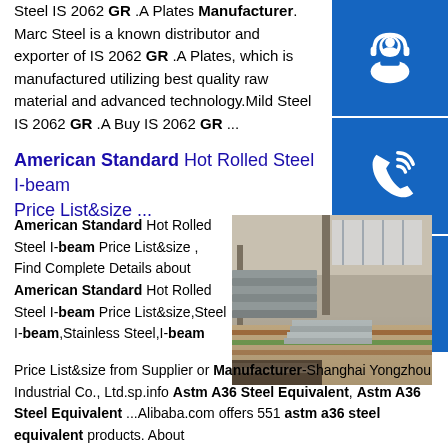Steel IS 2062 GR .A Plates Manufacturer. Marc Steel is a known distributor and exporter of IS 2062 GR .A Plates, which is manufactured utilizing best quality raw material and advanced technology.Mild Steel IS 2062 GR .A Buy IS 2062 GR ...
American Standard Hot Rolled Steel I-beam Price List&size ...
American Standard Hot Rolled Steel I-beam Price List&size , Find Complete Details about American Standard Hot Rolled Steel I-beam Price List&size,Steel I-beam,Stainless Steel,I-beam Price List&size from Supplier or Manufacturer-Shanghai Yongzhou Industrial Co., Ltd.sp.info Astm A36 Steel Equivalent, Astm A36 Steel Equivalent ...Alibaba.com offers 551 astm a36 steel equivalent products. About
[Figure (photo): Industrial warehouse interior with stacked steel plates/sheets on the floor]